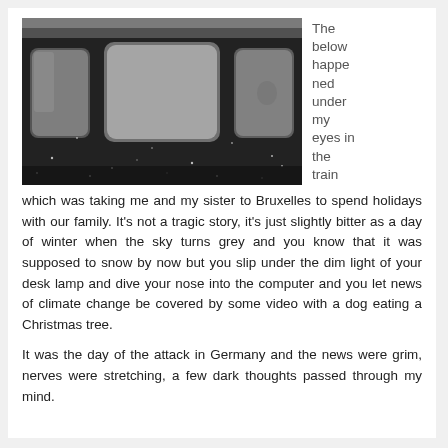[Figure (photo): Black and white photograph of a train carriage exterior showing three windows, snow or rain visible, dark background]
The below happened under my eyes in the train which was taking me and my sister to Bruxelles to spend holidays with our family. It's not a tragic story, it's just slightly bitter as a day of winter when the sky turns grey and you know that it was supposed to snow by now but you slip under the dim light of your desk lamp and dive your nose into the computer and you let news of climate change be covered by some video with a dog eating a Christmas tree.
It was the day of the attack in Germany and the news were grim, nerves were stretching, a few dark thoughts passed through my mind.